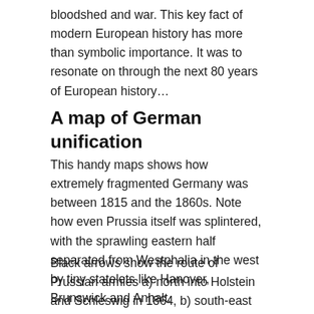bloodshed and war. This key fact of modern European history has more than symbolic importance. It was to resonate on through the next 80 years of European history…
A map of German unification
This handy maps shows how extremely fragmented Germany was between 1815 and the 1860s. Note how even Prussia itself was splintered, with the sprawling eastern half separated from Westphalia in the west by tiny statelets like Hanover, Brunswick and Anhalt.
Black arrows show the route of Prussian armies a) north into Holstein and Schleswig in 1864, b) south-east into the province of Bohemia (part of the Austrian Empire) to the